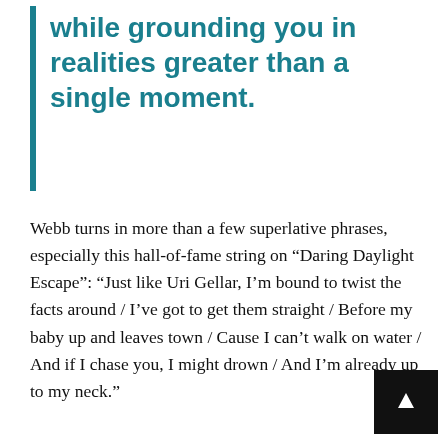while grounding you in realities greater than a single moment.
Webb turns in more than a few superlative phrases, especially this hall-of-fame string on “Daring Daylight Escape”: “Just like Uri Gellar, I’m bound to twist the facts around / I’ve got to get them straight / Before my baby up and leaves town / Cause I can’t walk on water / And if I chase you, I might drown / And I’m already up to my neck.”
But more than just keeping up, the band peppers this record with lines that evolve with experience. At eighteen, Colvin’s or any of Webb’s lines felt aspirational. Now, with a wife and kid and commitments